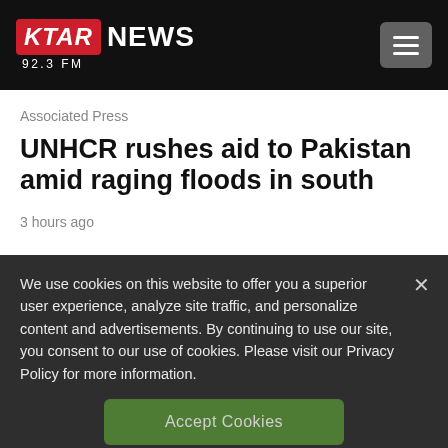KTAR NEWS 92.3 FM
Associated Press
UNHCR rushes aid to Pakistan amid raging floods in south
3 hours ago
We use cookies on this website to offer you a superior user experience, analyze site traffic, and personalize content and advertisements. By continuing to use our site, you consent to our use of cookies. Please visit our Privacy Policy for more information.
Accept Cookies